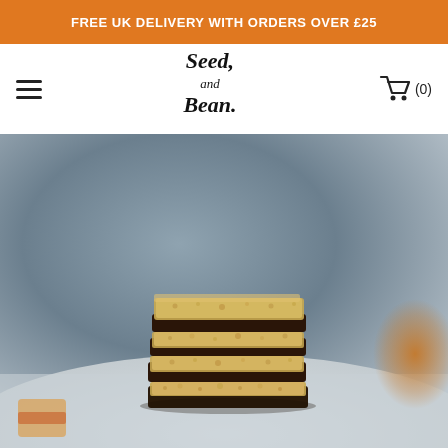FREE UK DELIVERY WITH ORDERS OVER £25
[Figure (logo): Seed and Bean brand logo with handwritten-style text]
[Figure (photo): Stack of chocolate-dipped granola/flapjack bars piled on top of each other, on a light surface, with blurred grey background and orange/colorful elements in corners]